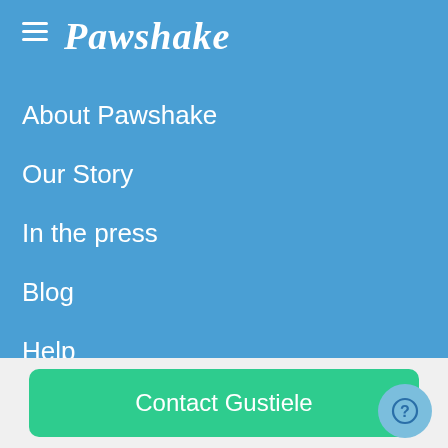Pawshake
About Pawshake
Our Story
In the press
Blog
Help
Payment Methods
Contact Gustiele